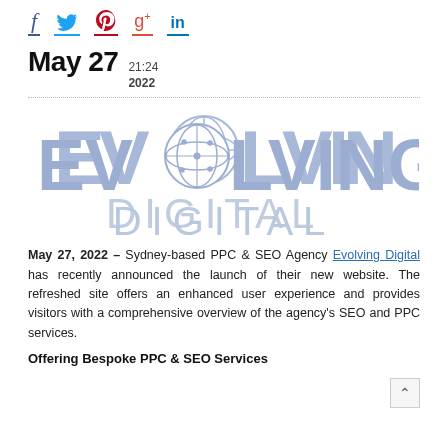f  [twitter]  [pinterest]  g+  in
May 27  21:24  2022
[Figure (logo): Evolving Digital logo — large light blue text reading EVOLVING with a globe/circuit icon replacing the O, and DIGITAL in lighter blue below]
May 27, 2022 – Sydney-based PPC & SEO Agency Evolving Digital has recently announced the launch of their new website. The refreshed site offers an enhanced user experience and provides visitors with a comprehensive overview of the agency's SEO and PPC services.
Offering Bespoke PPC & SEO Services